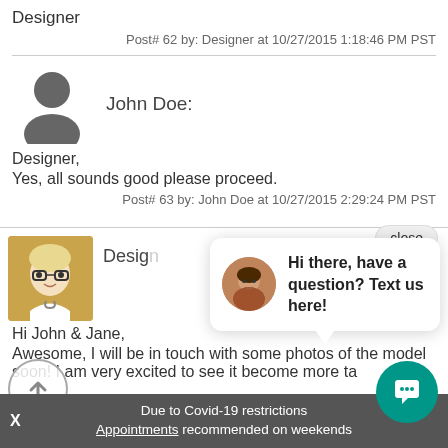Designer
Post# 62 by: Designer at 10/27/2015 1:18:46 PM PST
John Doe:
Designer,
Yes, all sounds good please proceed.
Post# 63 by: John Doe at 10/27/2015 2:29:24 PM PST
close
Designer
Hi there, have a question? Text us here!
Hi John & Jane,
Awesome, I will be in touch with some photos of the model soon! I am very excited to see it become more ta...
Due to Covid-19 restrictions
Appointments recommended on weekends
X